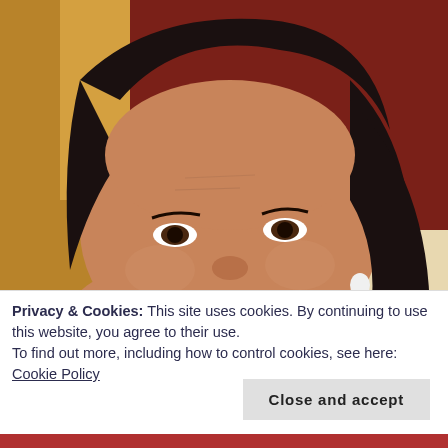[Figure (photo): Close-up photo of a middle-aged South Asian woman with long dark hair, smiling slightly, wearing a white earring. Wooden furniture visible in the background on the left, dark red/maroon wall on the right.]
Privacy & Cookies: This site uses cookies. By continuing to use this website, you agree to their use.
To find out more, including how to control cookies, see here: Cookie Policy
Close and accept